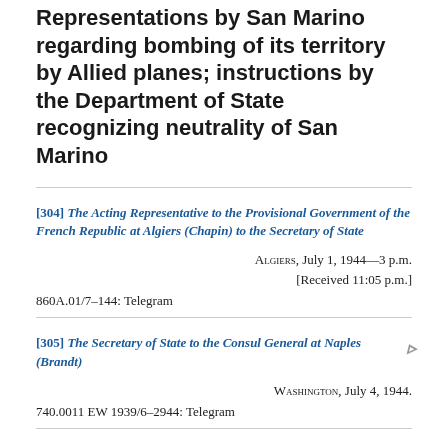Representations by San Marino regarding bombing of its territory by Allied planes; instructions by the Department of State recognizing neutrality of San Marino
[304] The Acting Representative to the Provisional Government of the French Republic at Algiers (Chapin) to the Secretary of State
Algiers, July 1, 1944—3 p.m.
[Received 11:05 p.m.]
860A.01/7–144: Telegram
[305] The Secretary of State to the Consul General at Naples (Brandt)
Washington, July 4, 1944.
740.0011 EW 1939/6–2944: Telegram
[306] The Secretary of State to the Consul General at Navies